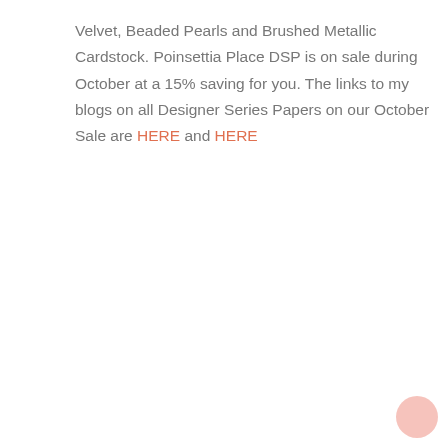Velvet, Beaded Pearls and Brushed Metallic Cardstock. Poinsettia Place DSP is on sale during October at a 15% saving for you. The links to my blogs on all Designer Series Papers on our October Sale are HERE and HERE